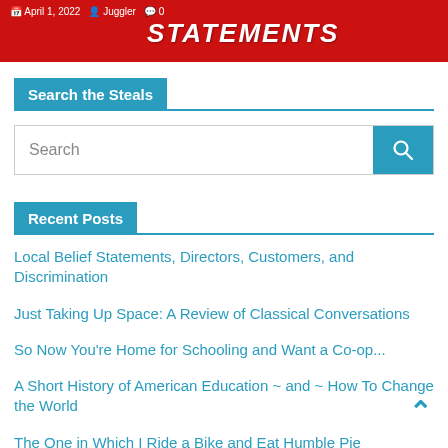[Figure (other): Blog banner header image with red background showing 'STATEMENTS' text in large white/red letters, with metadata showing April 1, 2022, author Juggler, and 0 comments]
Search the Steals
Search
Recent Posts
Local Belief Statements, Directors, Customers, and Discrimination
Just Taking Up Space: A Review of Classical Conversations
So Now You're Home for Schooling and Want a Co-op...
A Short History of American Education ~ and ~ How To Change the World
The One in Which I Ride a Bike and Eat Humble Pie